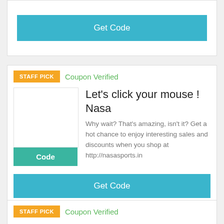[Figure (other): Top partial coupon card showing only a Get Code button in teal]
[Figure (other): Staff Pick coupon card for Nasa Sports with Coupon Verified label, deal title 'Let's click your mouse ! Nasa', description text, Code button, and Get Code button]
Coupon Verified
Let's click your mouse ! Nasa
Why wait? That's amazing, isn't it? Get a hot chance to enjoy interesting sales and discounts when you shop at http://nasasports.in
[Figure (other): Bottom partial coupon card showing Staff Pick badge and Coupon Verified label]